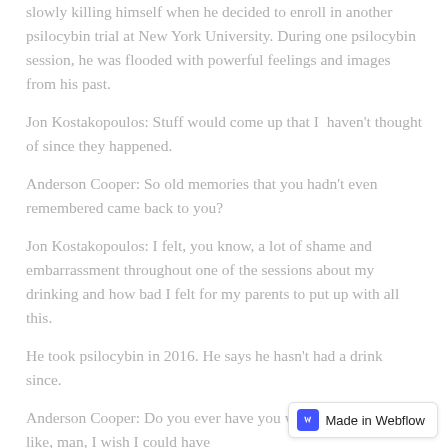slowly killing himself when he decided to enroll in another psilocybin trial at New York University. During one psilocybin session, he was flooded with powerful feelings and images from his past.
Jon Kostakopoulos: Stuff would come up that I haven't thought of since they happened.
Anderson Cooper: So old memories that you hadn't even remembered came back to you?
Jon Kostakopoulos: I felt, you know, a lot of shame and embarrassment throughout one of the sessions about my drinking and how bad I felt for my parents to put up with all this.
He took psilocybin in 2016. He says he hasn't had a drink since.
Anderson Cooper: Do you ever have you wake up and you're like, man, I wish I could have